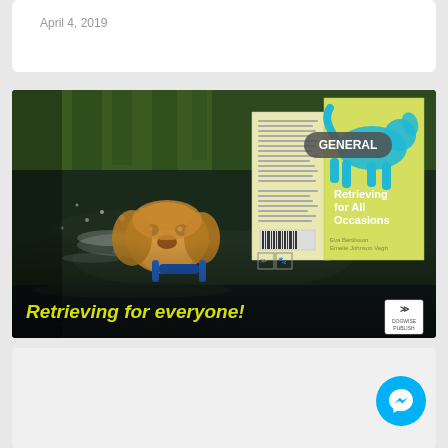April 4, 2019
[Figure (photo): Promotional image for the book 'Retrieving for All Occasions'. Shows a golden retriever dog swimming and holding a blue dumbbell in its mouth, with water splashing around it. The background shows green reeds/grass. Two book covers are displayed on the right side of the image. The front cover shows a yellow-green background with a teal/cyan dog silhouette and the title 'Retrieving for All Occasions'. A 'GENERAL' badge appears in the upper right. Text at the bottom reads 'Retrieving for everyone!' in yellow-green italic font. A publisher logo is in the bottom right corner of the image.]
[Figure (logo): Facebook Messenger circular button icon in cyan/turquoise color at bottom right of page]